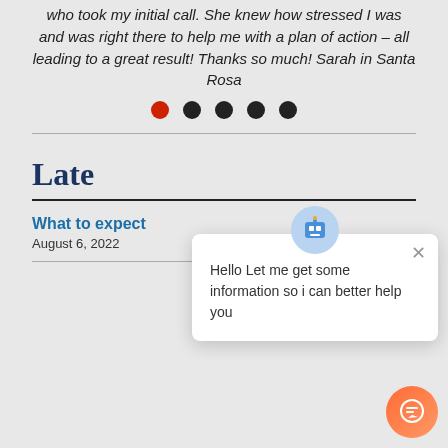who took my initial call. She knew how stressed I was and was right there to help me with a plan of action – all leading to a great result! Thanks so much! Sarah in Santa Rosa
[Figure (other): Carousel navigation dots: one red dot followed by four black dots]
Late
What to expect
August 6, 2022
[Figure (other): Chat popup with robot avatar icon and message: Hello Let me get some information so i can better help you, with close button. Orange chat button in bottom right corner.]